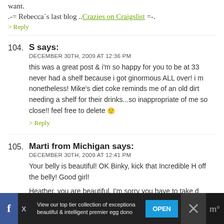.-= Rebecca's last blog ..Crazies on Craigslist =-.
> Reply
104. S says:
DECEMBER 30TH, 2009 AT 12:36 PM
this was a great post & i'm so happy for you to be at 33 weeks! i never had a shelf because i got ginormous ALL over! i m nonetheless! Mike's diet coke reminds me of an old dirt needing a shelf for their drinks...so inappropriate of me so close!! feel free to delete :)
> Reply
105. Marti from Michigan says:
DECEMBER 30TH, 2009 AT 12:41 PM
Your belly is beautiful! OK Binky, kick that Incredible H off the belly! Good girl!
Heather, you are beautiful. I'm sorry you have to take d
View our top tier collection of exceptiona beautiful & intelligent premier egg dono